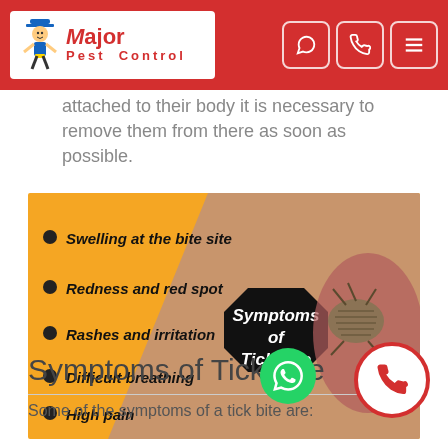Major Pest Control
attached to their body it is necessary to remove them from there as soon as possible.
[Figure (infographic): Infographic showing Symptoms of Tick Bite with orange and skin-tone diagonal background, a close-up photo of a tick embedded in skin on the right, a black octagon badge reading 'Symptoms of Tick Bite', and a bullet list: Swelling at the bite site, Redness and red spot, Rashes and irritation, Difficult breathing, High pain]
Symptoms of Tick Bite
Some of the symptoms of a tick bite are: